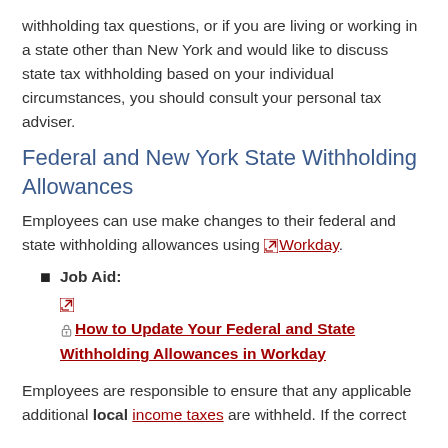withholding tax questions, or if you are living or working in a state other than New York and would like to discuss state tax withholding based on your individual circumstances, you should consult your personal tax adviser.
Federal and New York State Withholding Allowances
Employees can use make changes to their federal and state withholding allowances using Workday.
Job Aid: [external link icon] [lock icon] How to Update Your Federal and State Withholding Allowances in Workday
Employees are responsible to ensure that any applicable additional local income taxes are withheld. If the correct